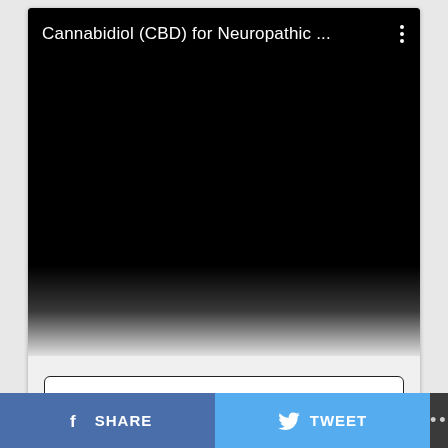[Figure (screenshot): Mobile app screenshot showing a black video player area with title 'Cannabidiol (CBD) for Neuropathic ...' at top, a gradient fade at bottom transitioning to white, and a 'CONTINUE READING' button below]
CONTINUE READING
SHARE   TWEET   ...